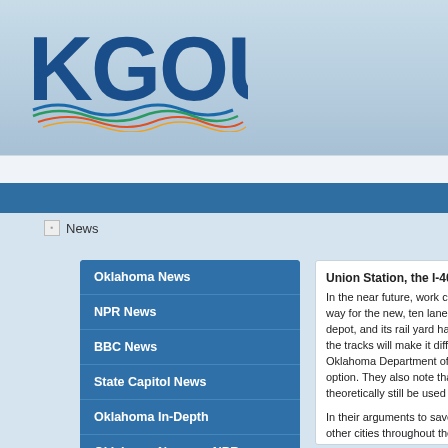[Figure (logo): KGOU radio station logo with colorful wave design in blue, teal, green, orange and red]
News
Oklahoma News
NPR News
BBC News
State Capitol News
Oklahoma In-Depth
Oklahoma News on NPR
Oklahoma Voices
StoryCorps
Union Station, the I-40 Crosstown &
In the near future, work crews could be... way for the new, ten lane I-40 Crossto... depot, and its rail yard has been used o... the tracks will make it difficult for the cit... Oklahoma Department of Transportatio... option. They also note that the highway theoretically still be used as a passenge...
In their arguments to save the rail yard, other cities throughout the region, so to... Anderson to get their perspectives. We Transportation Institute, Oklahoma City 40 Crosstown Expressway.